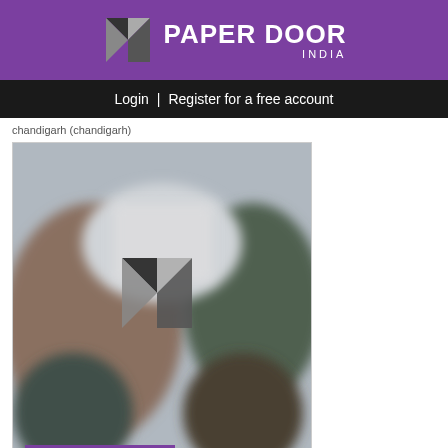[Figure (logo): Paper Door India logo — purple background with geometric diamond/arrow SVG icon and white bold text PAPER DOOR and INDIA subtitle]
Login | Register for a free account
chandigarh (chandigarh)
[Figure (photo): Blurred background photo of people in a room with a Paper Door India geometric logo watermark centered over it, and a purple bar at the bottom]